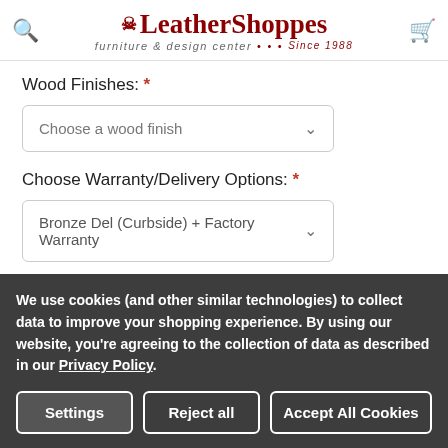LeatherShoppes furniture & design center • • • Since 1988
Wood Finishes: *
Choose a wood finish
Choose Warranty/Delivery Options: *
Bronze Del (Curbside) + Factory Warranty
Quantity:
We use cookies (and other similar technologies) to collect data to improve your shopping experience. By using our website, you're agreeing to the collection of data as described in our Privacy Policy.
Settings
Reject all
Accept All Cookies